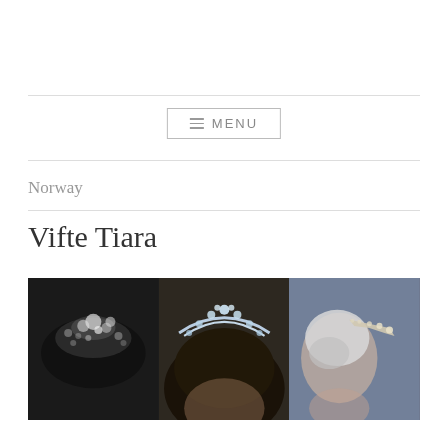≡ MENU
Norway
Vifte Tiara
[Figure (photo): Three photographs of the Vifte Tiara: left panel is a black-and-white close-up of the tiara showing sparkly diamond details; center panel shows the tiara worn by a woman with dark hair in color; right panel shows a side/back view of an older woman wearing the tiara.]